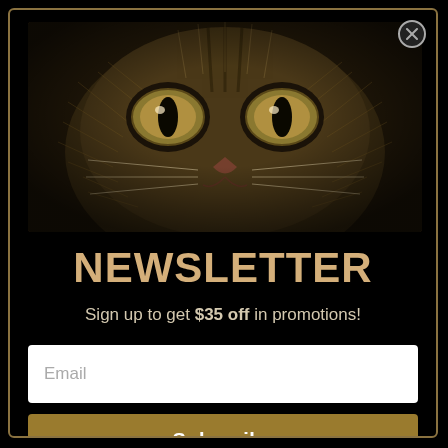[Figure (illustration): Close-up artistic etching/scratchboard illustration of a cat face with glowing eyes on a dark sepia background]
NEWSLETTER
Sign up to get $35 off in promotions!
Email
Subscribe